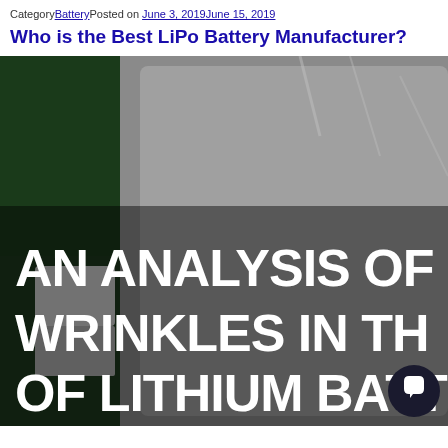CategoryBatteryPosted on June 3, 2019June 15, 2019
Who is the Best LiPo Battery Manufacturer?
[Figure (photo): Photo of a LiPo battery pouch with overlaid white bold text reading 'AN ANALYSIS OF WRINKLES IN THE OF LITHIUM BATT' (text is cropped on the right side), and a subtitle '- GREPOW BLOG' at the bottom. A dark circular chat button is visible at the bottom right.]